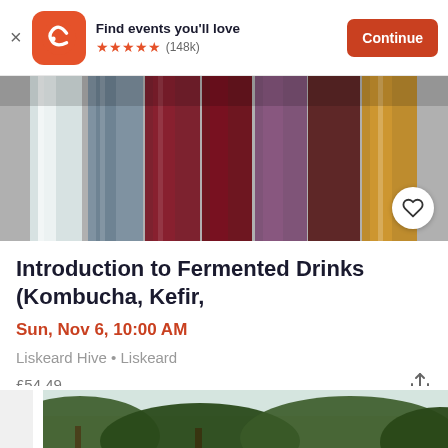Find events you'll love ★★★★★ (148k) Continue
[Figure (photo): Row of colorful fermented drinks in glass containers — white, blue, deep red/purple, maroon, amber/yellow tones — shot from above at an angle]
Introduction to Fermented Drinks (Kombucha, Kefir,
Sun, Nov 6, 10:00 AM
Liskeard Hive • Liskeard
£54.49
[Figure (photo): Partial view of trees with green foliage against a light sky — bottom portion of page]